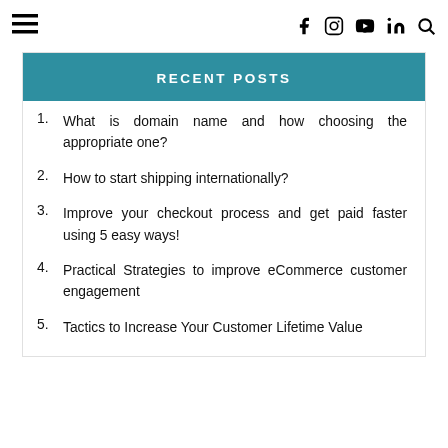≡  [social icons: Facebook, Instagram, YouTube, LinkedIn, Search]
RECENT POSTS
What is domain name and how choosing the appropriate one?
How to start shipping internationally?
Improve your checkout process and get paid faster using 5 easy ways!
Practical Strategies to improve eCommerce customer engagement
Tactics to Increase Your Customer Lifetime Value